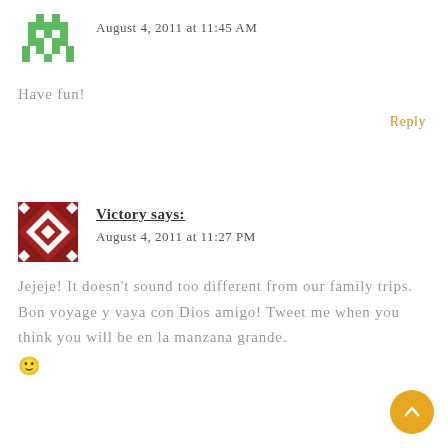[Figure (illustration): Green pixel/space-invader style avatar icon]
August 4, 2011 at 11:45 AM
Have fun!
Reply
[Figure (illustration): Red and white geometric diamond pattern avatar]
Victory says:
August 4, 2011 at 11:27 PM
Jejeje! It doesn't sound too different from our family trips. Bon voyage y vaya con Dios amigo! Tweet me when you think you will be en la manzana grande. 🙂